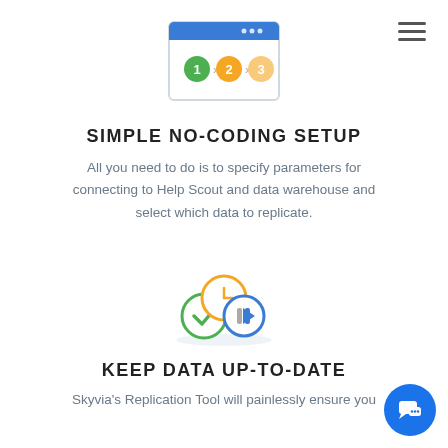[Figure (illustration): Browser window icon showing numbered steps 1 > 2 > 3 with colored circles (green, orange, orange) and a blue browser chrome bar]
SIMPLE NO-CODING SETUP
All you need to do is to specify parameters for connecting to Help Scout and data warehouse and select which data to replicate.
[Figure (illustration): Three overlapping circles: an orange clock icon, a green checkmark circle, and a blue play button circle]
KEEP DATA UP-TO-DATE
Skyvia's Replication Tool will painlessly ensure you